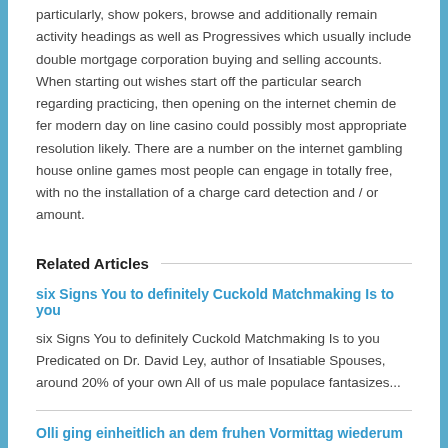particularly, show pokers, browse and additionally remain activity headings as well as Progressives which usually include double mortgage corporation buying and selling accounts. When starting out wishes start off the particular search regarding practicing, then opening on the internet chemin de fer modern day on line casino could possibly most appropriate resolution likely. There are a number on the internet gambling house online games most people can engage in totally free, with no the installation of a charge card detection and / or amount.
Related Articles
six Signs You to definitely Cuckold Matchmaking Is to you
six Signs You to definitely Cuckold Matchmaking Is to you Predicated on Dr. David Ley, author of Insatiable Spouses, around 20% of your own All of us male populace fantasizes...
Olli ging einheitlich an dem fruhen Vormittag wiederum